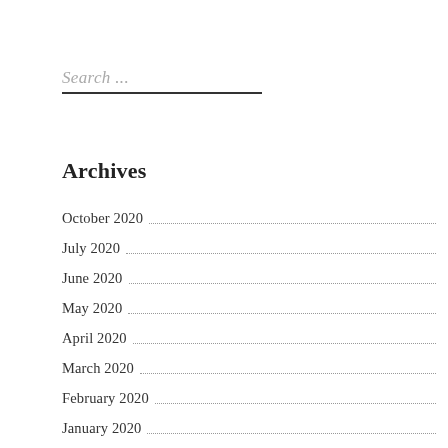Search ...
Archives
October 2020
July 2020
June 2020
May 2020
April 2020
March 2020
February 2020
January 2020
February 2019